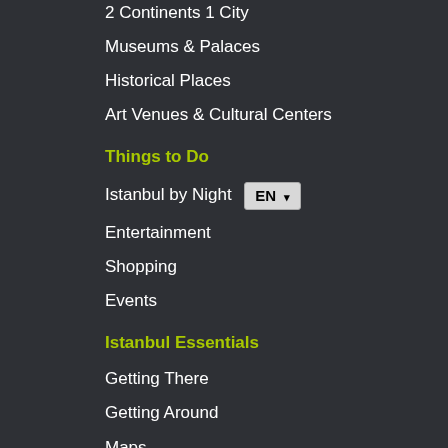2 Continents 1 City
Museums & Palaces
Historical Places
Art Venues & Cultural Centers
Things to Do
Istanbul by Night
Entertainment
Shopping
Events
Istanbul Essentials
Getting There
Getting Around
Maps
Practical Info
Emergency & Official Numbers
Book Istanbul
Travel Agencies
Classical Tours
Tour Guides